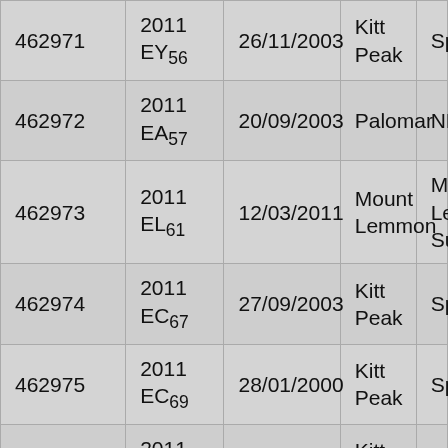| 462971 | 2011 EY56 | 26/11/2003 | Kitt Peak | Sp |
| 462972 | 2011 EA57 | 20/09/2003 | Palomar | NE |
| 462973 | 2011 EL61 | 12/03/2011 | Mount Lemmon | Mo Le Su |
| 462974 | 2011 EC67 | 27/09/2003 | Kitt Peak | Sp |
| 462975 | 2011 EC69 | 28/01/2000 | Kitt Peak | Sp |
| 462976 | 2011 ER69 | 10/03/2011 | Kitt Peak | Sp |
| 462977 | 2011 EP77 | 28/01/2000 | Kitt Peak | Sp |